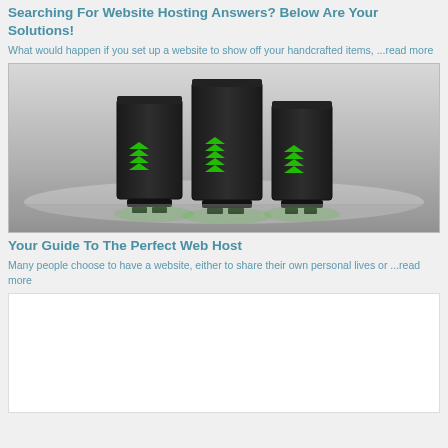Searching For Website Hosting Answers? Below Are Your Solutions!
What would happen if you set up a website to show off your handcrafted items, ...read more
[Figure (photo): Three black server towers with green LED arrows on a reflective gray surface]
Your Guide To The Perfect Web Host
Many people choose to have a website, either to share their own personal lives or ...read more
[Figure (photo): White/blank image placeholder area]